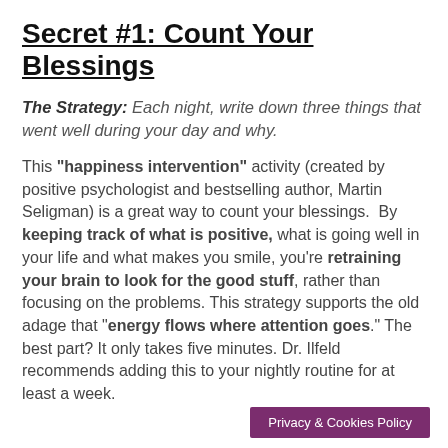Secret #1: Count Your Blessings
The Strategy: Each night, write down three things that went well during your day and why.
This "happiness intervention" activity (created by positive psychologist and bestselling author, Martin Seligman) is a great way to count your blessings. By keeping track of what is positive, what is going well in your life and what makes you smile, you're retraining your brain to look for the good stuff, rather than focusing on the problems. This strategy supports the old adage that "energy flows where attention goes." The best part? It only takes five minutes. Dr. Ilfeld recommends adding this to your nightly routine for at least a week.
Privacy & Cookies Policy